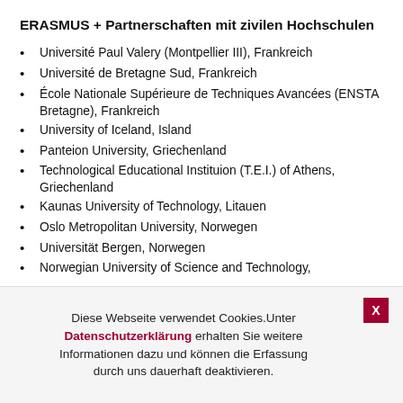ERASMUS + Partnerschaften mit zivilen Hochschulen
Université Paul Valery (Montpellier III), Frankreich
Université de Bretagne Sud, Frankreich
École Nationale Supérieure de Techniques Avancées (ENSTA Bretagne), Frankreich
University of Iceland, Island
Panteion University, Griechenland
Technological Educational Instituion (T.E.I.) of Athens, Griechenland
Kaunas University of Technology, Litauen
Oslo Metropolitan University, Norwegen
Universität Bergen, Norwegen
Norwegian University of Science and Technology,
Diese Webseite verwendet Cookies. Unter Datenschutzerklärung erhalten Sie weitere Informationen dazu und können die Erfassung durch uns dauerhaft deaktivieren.